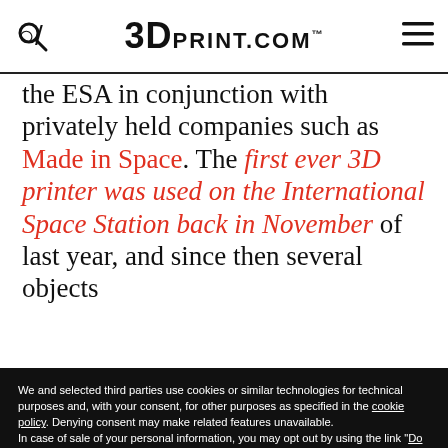3DPrint.com
the ESA in conjunction with privately held companies such as Made in Space. The first ever 3D printer was used on the International Space Station back in November of last year, and since then several objects
We and selected third parties use cookies or similar technologies for technical purposes and, with your consent, for other purposes as specified in the cookie policy. Denying consent may make related features unavailable.
In case of sale of your personal information, you may opt out by using the link "Do Not Sell My Personal Information".
To find out more about the categories of personal information collected and the purposes for which such information will be used, please refer to our privacy policy. You can consent to the use of such technologies by using the "Accept" button, by scrolling this page, by interacting with any link or button outside of this notice or by continuing to browse otherwise.